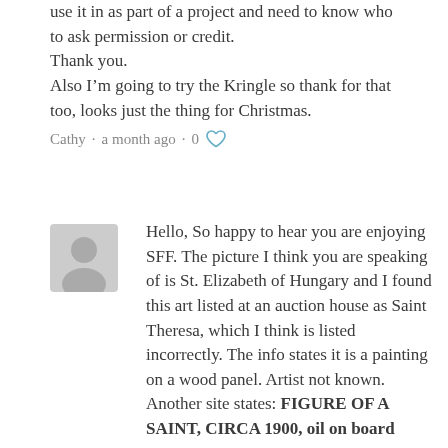use it in as part of a project and need to know who to ask permission or credit. Thank you. Also I'm going to try the Kringle so thank for that too, looks just the thing for Christmas.
Cathy · a month ago · 0 ♡
Hello, So happy to hear you are enjoying SFF. The picture I think you are speaking of is St. Elizabeth of Hungary and I found this art listed at an auction house as Saint Theresa, which I think is listed incorrectly. The info states it is a painting on a wood panel. Artist not known. Another site states: FIGURE OF A SAINT, CIRCA 1900, oil on board